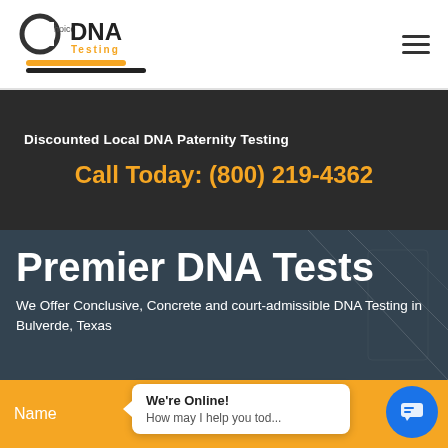[Figure (logo): Choice DNA Testing logo with stylized C letter and orange/black text]
Choice DNA Testing — navigation header with hamburger menu
Discounted Local DNA Paternity Testing
Call Today: (800) 219-4362
Premier DNA Tests
We Offer Conclusive, Concrete and court-admissible DNA Testing in Bulverde, Texas
Name
We're Online! How may I help you tod...